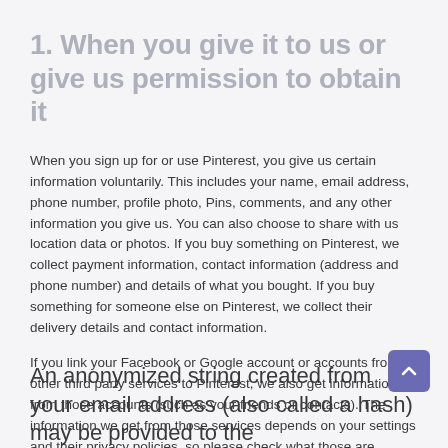1. When you give it to us or give us permission to obtain it
When you sign up for or use Pinterest, you give us certain information voluntarily. This includes your name, email address, phone number, profile photo, Pins, comments, and any other information you give us. You can also choose to share with us location data or photos. If you buy something on Pinterest, we collect payment information, contact information (address and phone number) and details of what you bought. If you buy something for someone else on Pinterest, we collect their delivery details and contact information.
If you link your Facebook or Google account or accounts from other third party services to Pinterest, we also get information from those accounts (such as your friends or contacts). The information we get from those services depends on your settings and their privacy policies, so please check what those are.
An anonymized string created from your email address (also called a hash) may be provided to the